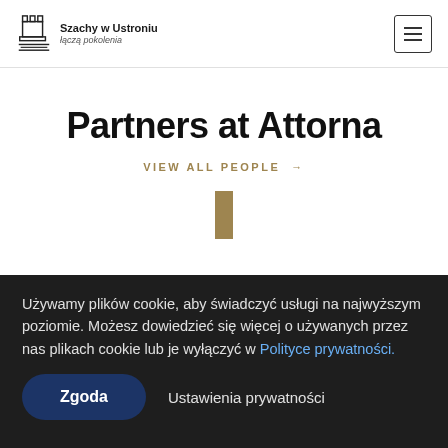Szachy w Ustroniu łączą pokolenia
Partners at Attorna
VIEW ALL PEOPLE →
Używamy plików cookie, aby świadczyć usługi na najwyższym poziomie. Możesz dowiedzieć się więcej o używanych przez nas plikach cookie lub je wyłączyć w Polityce prywatności.
Zgoda   Ustawienia prywatności